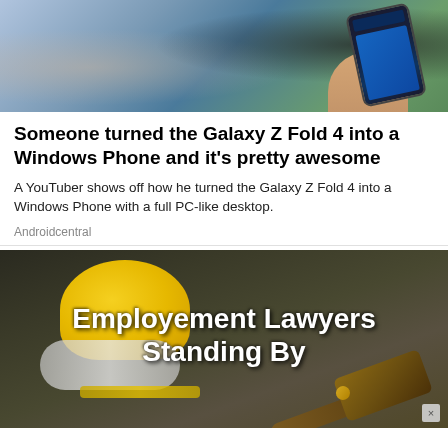[Figure (photo): Hand holding a Samsung Galaxy Z Fold 4 smartphone against a blurred green plant background]
Someone turned the Galaxy Z Fold 4 into a Windows Phone and it's pretty awesome
A YouTuber shows off how he turned the Galaxy Z Fold 4 into a Windows Phone with a full PC-like desktop.
Androidcentral
[Figure (photo): Advertisement banner showing employment lawyers with a yellow hard hat, safety goggles, and a wooden gavel. Text reads: Employement Lawyers Standing By]